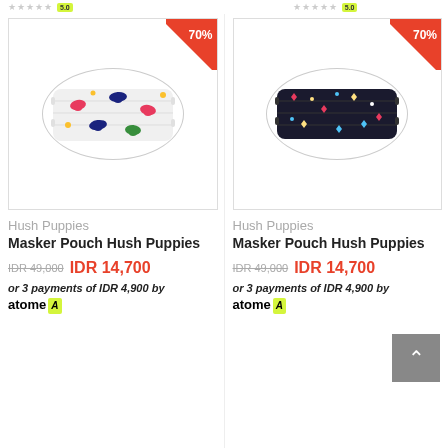[Figure (photo): Colorful patterned fabric face mask with dogs/puppies print (Hush Puppies brand), shown with white oval ellipse holder, 70% discount badge in red corner]
Hush Puppies
Masker Pouch Hush Puppies
IDR 49,000  IDR 14,700
or 3 payments of IDR 4,900 by atome A
[Figure (photo): Dark/black patterned fabric face mask with colorful hearts/cats print (Hush Puppies brand), shown with white oval ellipse holder, 70% discount badge in red corner]
Hush Puppies
Masker Pouch Hush Puppies
IDR 49,000  IDR 14,700
or 3 payments of IDR 4,900 by atome A